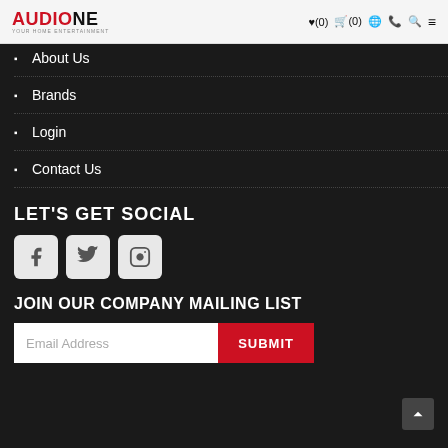Audio One — navigation header with logo and icons (wishlist, cart, language, phone, search, menu)
About Us
Brands
Login
Contact Us
LET'S GET SOCIAL
[Figure (other): Social media icon buttons: Facebook, Twitter, Instagram]
JOIN OUR COMPANY MAILING LIST
Email Address input field with SUBMIT button